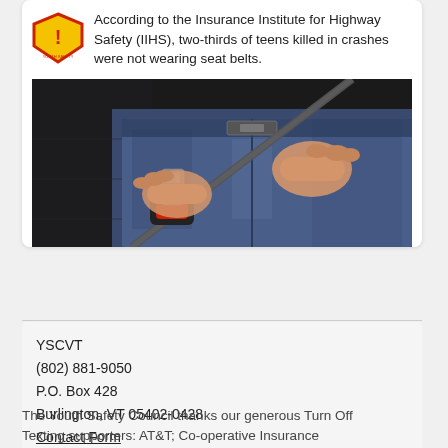According to the Insurance Institute for Highway Safety (IIHS), two-thirds of teens killed in crashes were not wearing seat belts.
[Figure (photo): Close-up photo of a person's hands buckling a seat belt in a car, wearing blue jeans, with black car seat visible.]
YSCVT
(802) 881-9050
P.O. Box 428
Burlington, VT 05402-0428
Contact Form
The Youth Safety Council thanks our generous Turn Off Texting supporters: AT&T; Co-operative Insurance